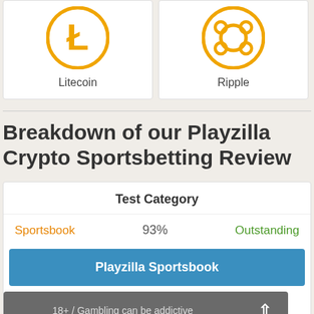[Figure (logo): Litecoin logo - orange circle with L symbol]
Litecoin
[Figure (logo): Ripple logo - orange circle with ripple symbol]
Ripple
Breakdown of our Playzilla Crypto Sportsbetting Review
| Test Category |  |  |
| --- | --- | --- |
| Sportsbook | 93% | Outstanding |
Playzilla Sportsbook
18+ / Gambling can be addictive
Playzilla Mobile App